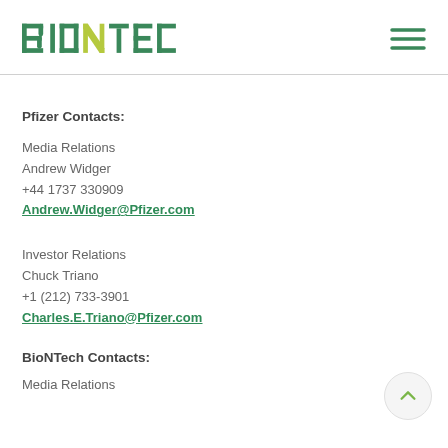BioNTech logo and navigation menu icon
Pfizer Contacts:
Media Relations
Andrew Widger
+44 1737 330909
Andrew.Widger@Pfizer.com
Investor Relations
Chuck Triano
+1 (212) 733-3901
Charles.E.Triano@Pfizer.com
BioNTech Contacts:
Media Relations